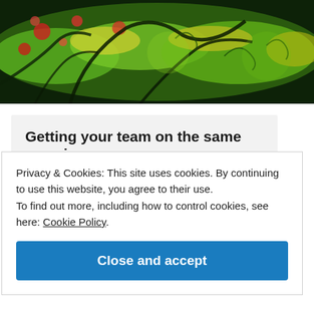[Figure (photo): Microscopy image showing colorful cell or tissue visualization with green, red, and yellow fluorescent colors on a dark background]
Getting your team on the same page is easy
Privacy & Cookies: This site uses cookies. By continuing to use this website, you agree to their use.
To find out more, including how to control cookies, see here: Cookie Policy
Close and accept